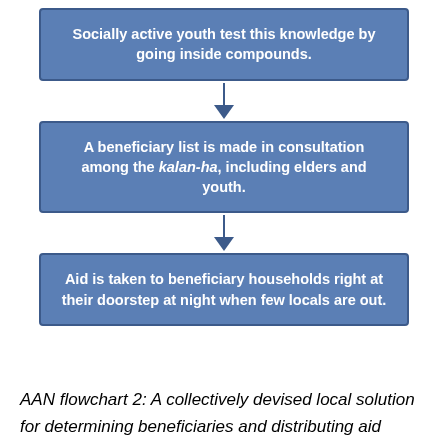[Figure (flowchart): A vertical flowchart with three blue rounded-rectangle boxes connected by downward arrows. Box 1: 'Socially active youth test this knowledge by going inside compounds.' Box 2: 'A beneficiary list is made in consultation among the kalan-ha, including elders and youth.' Box 3: 'Aid is taken to beneficiary households right at their doorstep at night when few locals are out.']
AAN flowchart 2: A collectively devised local solution for determining beneficiaries and distributing aid